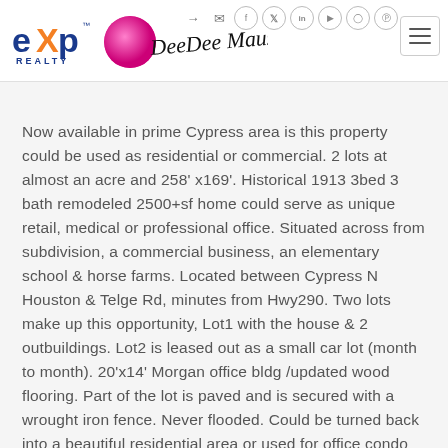eXp Realty — DeeDee Mauz signature logo with social icons and hamburger menu
Now available in prime Cypress area is this property could be used as residential or commercial. 2 lots at almost an acre and 258' x169'. Historical 1913 3bed 3 bath remodeled 2500+sf home could serve as unique retail, medical or professional office. Situated across from subdivision, a commercial business, an elementary school & horse farms. Located between Cypress N Houston & Telge Rd, minutes from Hwy290. Two lots make up this opportunity, Lot1 with the house & 2 outbuildings. Lot2 is leased out as a small car lot (month to month). 20'x14' Morgan office bldg /updated wood flooring. Part of the lot is paved and is secured with a wrought iron fence. Never flooded. Could be turned back into a beautiful residential area or used for office condo and business office. Not many of these lots left in